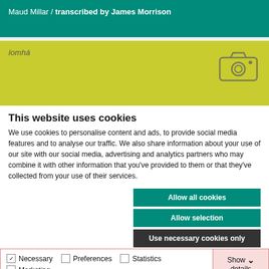Maud Millar / transcribed by James Morrison
íomhá
This website uses cookies
We use cookies to personalise content and ads, to provide social media features and to analyse our traffic. We also share information about your use of our site with our social media, advertising and analytics partners who may combine it with other information that you've provided to them or that they've collected from your use of their services.
Allow all cookies
Allow selection
Use necessary cookies only
Necessary   Preferences   Statistics   Marketing   Show details